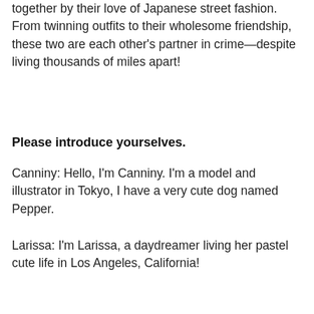together by their love of Japanese street fashion. From twinning outfits to their wholesome friendship, these two are each other's partner in crime—despite living thousands of miles apart!
Please introduce yourselves.
Canniny: Hello, I'm Canniny. I'm a model and illustrator in Tokyo, I have a very cute dog named Pepper.
Larissa: I'm Larissa, a daydreamer living her pastel cute life in Los Angeles, California!